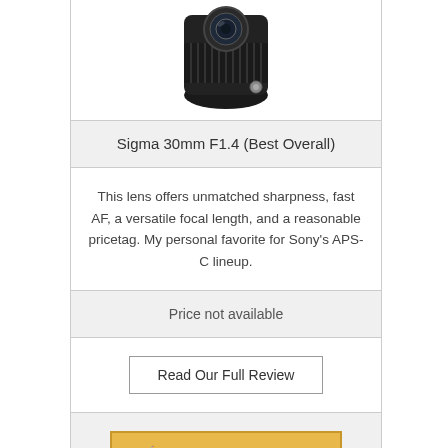[Figure (photo): Sigma 30mm F1.4 lens, black, viewed from front, partially cropped at top]
Sigma 30mm F1.4 (Best Overall)
This lens offers unmatched sharpness, fast AF, a versatile focal length, and a reasonable pricetag. My personal favorite for Sony's APS-C lineup.
Price not available
Read Our Full Review
🛒 Check Current Price